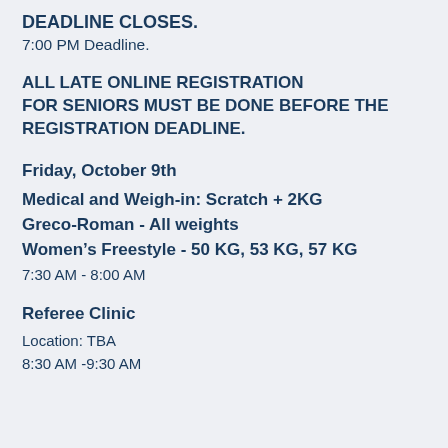deadline closes.
7:00 PM Deadline.
ALL LATE ONLINE REGISTRATION FOR SENIORS MUST BE DONE BEFORE THE REGISTRATION DEADLINE.
Friday, October 9th
Medical and Weigh-in: Scratch + 2KG
Greco-Roman - All weights
Women's Freestyle - 50 KG, 53 KG, 57 KG
7:30 AM - 8:00 AM
Referee Clinic
Location: TBA
8:30 AM -9:30 AM